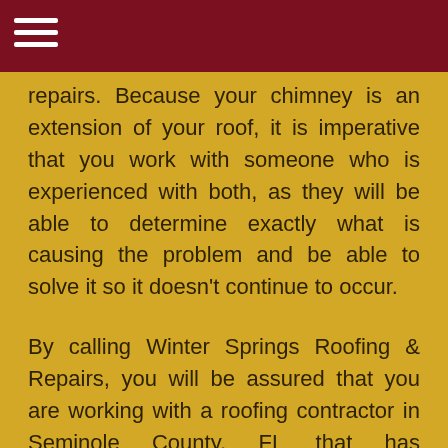repairs. Because your chimney is an extension of your roof, it is imperative that you work with someone who is experienced with both, as they will be able to determine exactly what is causing the problem and be able to solve it so it doesn't continue to occur.
By calling Winter Springs Roofing & Repairs, you will be assured that you are working with a roofing contractor in Seminole County, FL that has experience in handling many different kinds of chimney repairs. From damage to chimney crowns to tuckpointing, we have seen it all. We have the knowledge to fix it right the first time, and are often called in when other roofing contractors can't